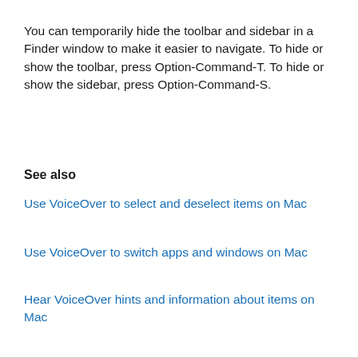You can temporarily hide the toolbar and sidebar in a Finder window to make it easier to navigate. To hide or show the toolbar, press Option-Command-T. To hide or show the sidebar, press Option-Command-S.
See also
Use VoiceOver to select and deselect items on Mac
Use VoiceOver to switch apps and windows on Mac
Hear VoiceOver hints and information about items on Mac